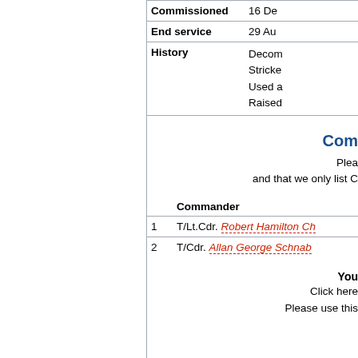| Field | Value |
| --- | --- |
| Commissioned | 16 De... |
| End service | 29 Au... |
| History | Decom...
Stricke...
Used a...
Raise... |
Com...
Plea...
and that we only list C...
|  | Commander |
| --- | --- |
| 1 | T/Lt.Cdr. Robert Hamilton Ch... |
| 2 | T/Cdr. Allan George Schnab... |
You...
Click here...
Please use thi...